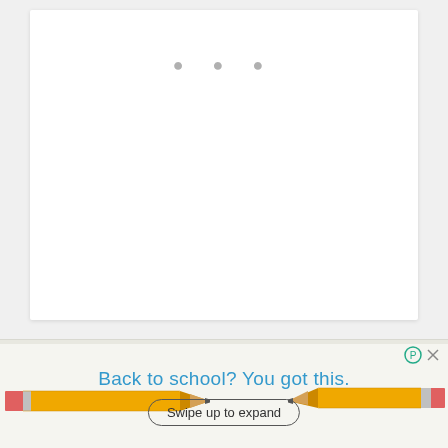[Figure (screenshot): White card area with three gray dots indicating a loading or pagination indicator]
If this solves the problem, go ahead and move your data and files to the new account. Follow this procedure to
[Figure (illustration): Advertisement banner: Back to school? You got this. With pencil illustrations on left and right sides and a 'Swipe up to expand' button.]